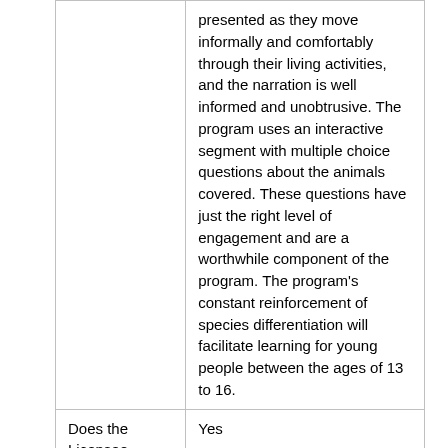|  | presented as they move informally and comfortably through their living activities, and the narration is well informed and unobtrusive. The program uses an interactive segment with multiple choice questions about the animals covered. These questions have just the right level of engagement and are a worthwhile component of the program. The program's constant reinforcement of species differentiation will facilitate learning for young people between the ages of 13 to 16. |
| Does the Licensee identify the | Yes |